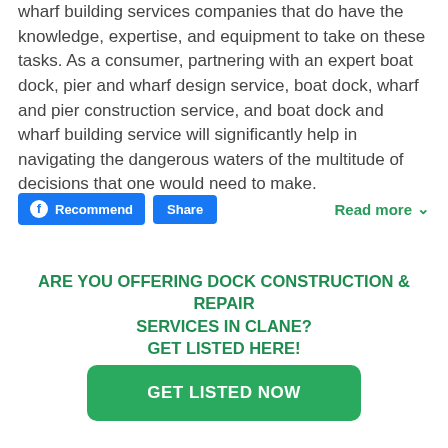wharf building services companies that do have the knowledge, expertise, and equipment to take on these tasks. As a consumer, partnering with an expert boat dock, pier and wharf design service, boat dock, wharf and pier construction service, and boat dock and wharf building service will significantly help in navigating the dangerous waters of the multitude of decisions that one would need to make.
Recommend | Share | Read more
ARE YOU OFFERING DOCK CONSTRUCTION & REPAIR SERVICES IN CLANE? GET LISTED HERE!
GET LISTED NOW